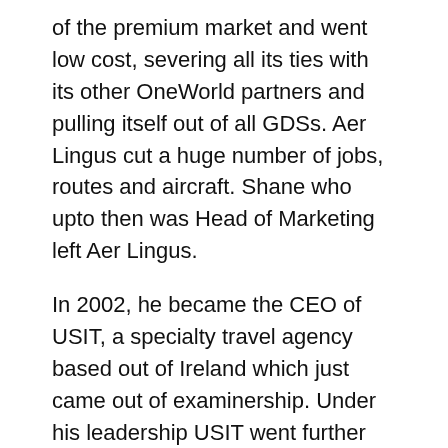of the premium market and went low cost, severing all its ties with its other OneWorld partners and pulling itself out of all GDSs. Aer Lingus cut a huge number of jobs, routes and aircraft. Shane who upto then was Head of Marketing left Aer Lingus.
In 2002, he became the CEO of USIT, a specialty travel agency based out of Ireland which just came out of examinership. Under his leadership USIT went further into serious financial trouble where its losses soared by 60%. USIT was bought out in 2004 and its new owners asked Shane to leave.
The two important companies he was with, ended up in deep financial